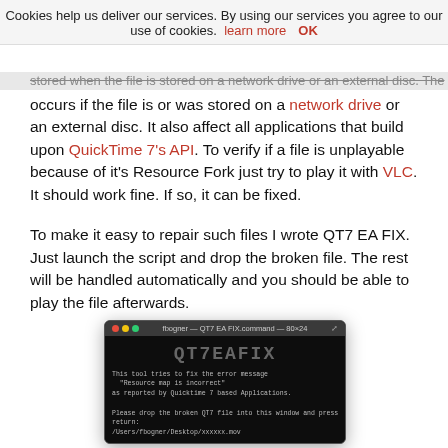Cookies help us deliver our services. By using our services you agree to our use of cookies. learn more  OK
stored when the file is stored on a network drive or an external disc. The error only occurs if the file is or was stored on a network drive or an external disc. It also affect all applications that build upon QuickTime 7's API. To verify if a file is unplayable because of it's Resource Fork just try to play it with VLC. It should work fine. If so, it can be fixed.
To make it easy to repair such files I wrote QT7 EA FIX. Just launch the script and drop the broken file. The rest will be handled automatically and you should be able to play the file afterwards.
[Figure (screenshot): Terminal window showing QT7 EA FIX command tool with ASCII art logo and instructions to drop broken QT7 file into the window and press return.]